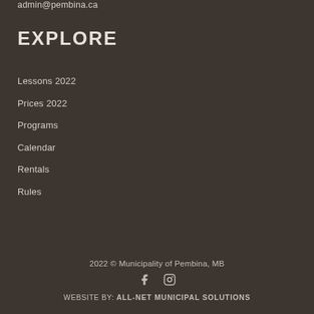admin@pembina.ca
EXPLORE
Lessons 2022
Prices 2022
Programs
Calendar
Rentals
Rules
2022 © Municipality of Pembina, MB
WEBSITE BY: ALL-NET MUNICIPAL SOLUTIONS